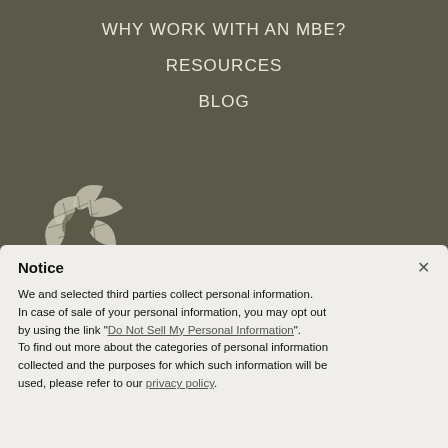WHY WORK WITH AN MBE?
RESOURCES
BLOG
[Figure (logo): NMSDC National Minority Supplier Development Council logo with fan/leaf graphic in light grey on dark background]
Notice
We and selected third parties collect personal information. In case of sale of your personal information, you may opt out by using the link "Do Not Sell My Personal Information". To find out more about the categories of personal information collected and the purposes for which such information will be used, please refer to our privacy policy.